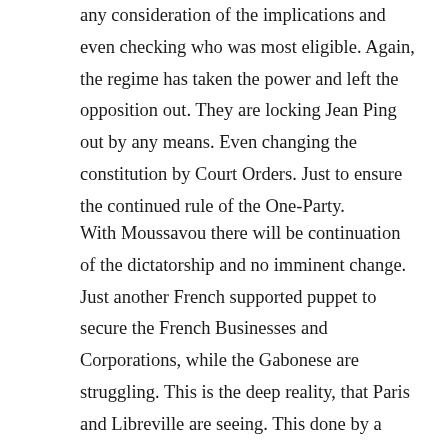any consideration of the implications and even checking who was most eligible. Again, the regime has taken the power and left the opposition out. They are locking Jean Ping out by any means. Even changing the constitution by Court Orders. Just to ensure the continued rule of the One-Party.
With Moussavou there will be continuation of the dictatorship and no imminent change. Just another French supported puppet to secure the French Businesses and Corporations, while the Gabonese are struggling. This is the deep reality, that Paris and Libreville are seeing. This done by a mere Court Order and not ushered change by the public. If they stand up against the regime. They are usually thrown behind bars. Therefore, the regime are pushing through and not giving way.